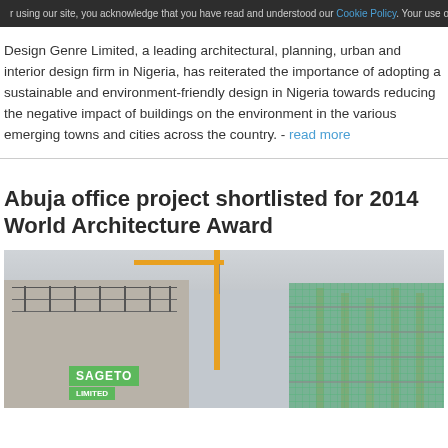using our site, you acknowledge that you have read and understood our Cookie Policy. Your use of our web
Design Genre Limited, a leading architectural, planning, urban and interior design firm in Nigeria, has reiterated the importance of adopting a sustainable and environment-friendly design in Nigeria towards reducing the negative impact of buildings on the environment in the various emerging towns and cities across the country. - read more
Abuja office project shortlisted for 2014 World Architecture Award
[Figure (photo): Construction site photo showing a building under construction with scaffolding, green netting on the right side, a yellow crane, and a SAGETO LIMITED sign on the left portion of the building.]